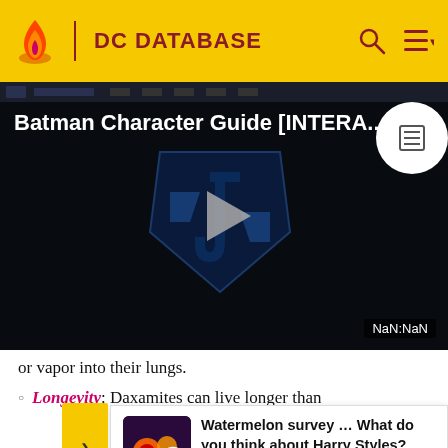DC DATABASE
[Figure (screenshot): Video player showing 'Batman Character Guide [INTERA...' with a play button and NaN:NaN timecode over a dark background with a stylized logo]
or vapor into their lungs.
Longevity: Daxamites can live longer than
Watermelon survey … What do you think about Harry Styles? TAKE THE SURVEY HERE